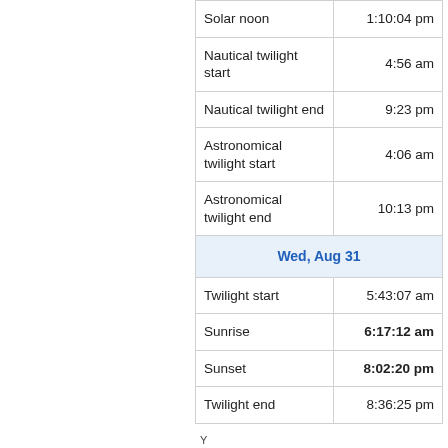| Event | Time |
| --- | --- |
| Solar noon | 1:10:04 pm |
| Nautical twilight start | 4:56 am |
| Nautical twilight end | 9:23 pm |
| Astronomical twilight start | 4:06 am |
| Astronomical twilight end | 10:13 pm |
| Wed, Aug 31 |  |
| Twilight start | 5:43:07 am |
| Sunrise | 6:17:12 am |
| Sunset | 8:02:20 pm |
| Twilight end | 8:36:25 pm |